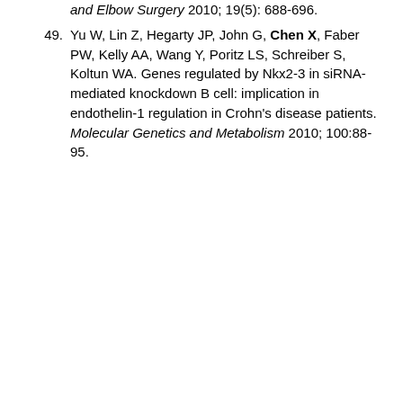and Elbow Surgery 2010; 19(5): 688-696.
49. Yu W, Lin Z, Hegarty JP, John G, Chen X, Faber PW, Kelly AA, Wang Y, Poritz LS, Schreiber S, Koltun WA. Genes regulated by Nkx2-3 in siRNA-mediated knockdown B cell: implication in endothelin-1 regulation in Crohn's disease patients. Molecular Genetics and Metabolism 2010; 100:88-95.